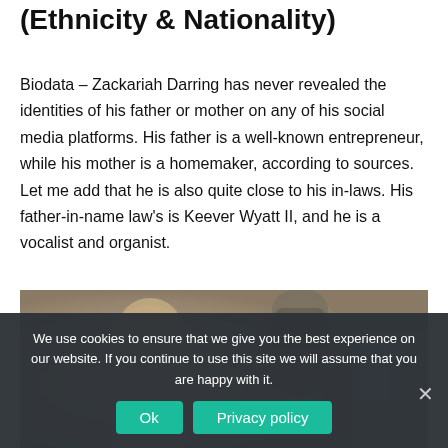(Ethnicity & Nationality)
Biodata – Zackariah Darring has never revealed the identities of his father or mother on any of his social media platforms. His father is a well-known entrepreneur, while his mother is a homemaker, according to sources. Let me add that he is also quite close to his in-laws. His father-in-name law's is Keever Wyatt II, and he is a vocalist and organist.
[Figure (photo): A blurry photo showing people from behind, one wearing a knit hat, in what appears to be an indoor setting.]
We use cookies to ensure that we give you the best experience on our website. If you continue to use this site we will assume that you are happy with it.